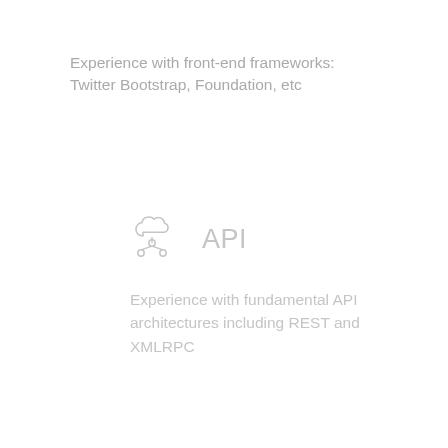Experience with front-end frameworks: Twitter Bootstrap, Foundation, etc
[Figure (illustration): Cloud/API icon (faded light grey) with text label 'API' next to it, followed by descriptive text: 'Experience with fundamental API architectures including REST and XMLRPC']
[Figure (illustration): Network/database hierarchy icon (faded light grey) with text label 'Database' next to it, followed by descriptive text: 'Experience building database-driven applications structured databases']